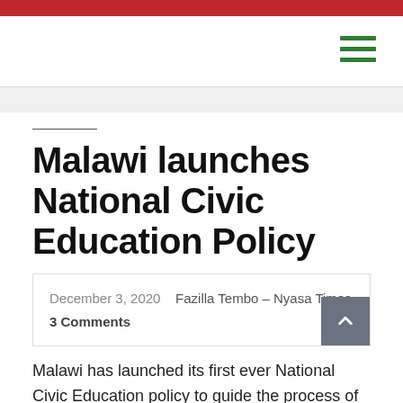Malawi launches National Civic Education Policy
December 3, 2020  Fazilla Tembo – Nyasa Times  3 Comments
Malawi has launched its first ever National Civic Education policy to guide the process of imparting and empowering citizens with knowledge and understanding on social